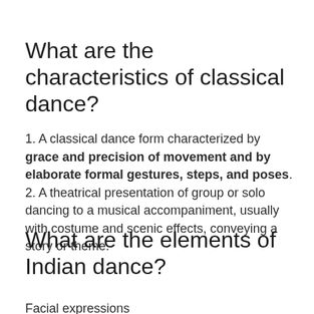What are the characteristics of classical dance?
1. A classical dance form characterized by grace and precision of movement and by elaborate formal gestures, steps, and poses. 2. A theatrical presentation of group or solo dancing to a musical accompaniment, usually with costume and scenic effects, conveying a story or theme.
What are the elements of Indian dance?
Facial expressions